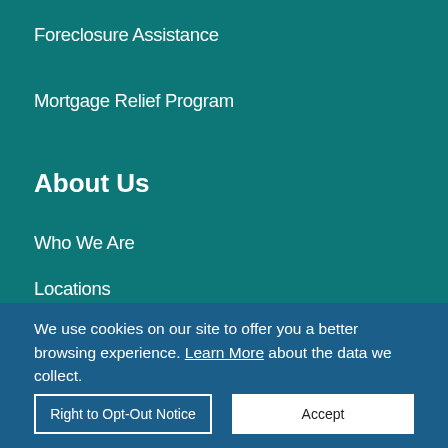Foreclosure Assistance
Mortgage Relief Program
About Us
Who We Are
Locations
News & Events
Leadership
Annual Report
We use cookies on our site to offer you a better browsing experience. Learn More about the data we collect.
Right to Opt-Out Notice
Accept